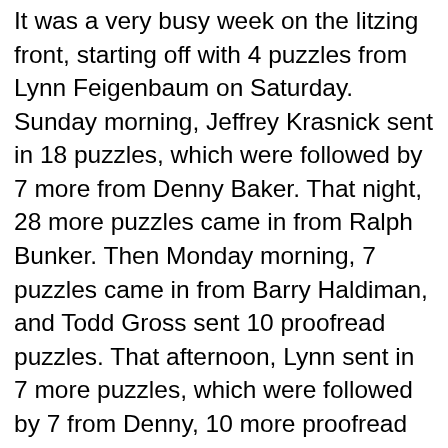It was a very busy week on the litzing front, starting off with 4 puzzles from Lynn Feigenbaum on Saturday.  Sunday morning, Jeffrey Krasnick sent in 18 puzzles, which were followed by 7 more from Denny Baker.  That night, 28 more puzzles came in from Ralph Bunker.  Then Monday morning, 7 puzzles came in from Barry Haldiman, and Todd Gross sent 10 proofread puzzles.  That afternoon, Lynn sent in 7 more puzzles, which were followed by 7 from Denny, 10 more proofread puzzles from Todd, and 7 litzed puzzles from Todd (T) McClary.  We passed 14,500 on the litzing thermometer Monday evening!  Then Tuesday morning, Barry sent in 7 more puzzles.  Early Wednesday morning, Jeffrey sent 7 puzzles, putting his total at more than 900 litzed puzzles—congratulations, Jeffrey!  Then 20 minutes later, 28 more puzzles came in from Ralph.  A few hours later, Lynn sent 7 more, which were followed by 7 more from Denny and 10 more proofread puzzles from Todd.  Early Thursday morning, Jeffrey sent in 3 more puzzles.  That afternoon, Denny sent 7 more puzzles, putting his total at more than 800 litzed puzzles—congratulations, Denny!  Then Friday morning, Lynn sent 7 more puzzles, which were followed by 7 from Jeffrey and 7 more from Barry that morning, putting his total at more than 1,000 litzed puzzles...